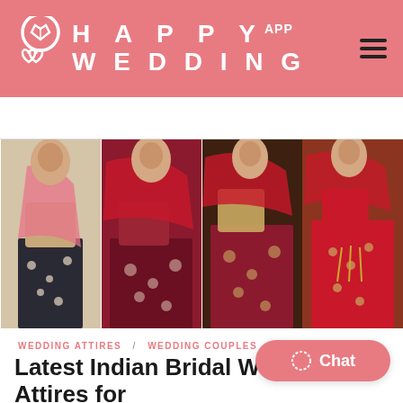HAPPY WEDDING APP
[Figure (photo): Collage of four Indian brides in traditional red and gold bridal lehenga wedding attire]
WEDDING ATTIRES / WEDDING COUPLES / WE...
Latest Indian Bridal Wedding Attires for